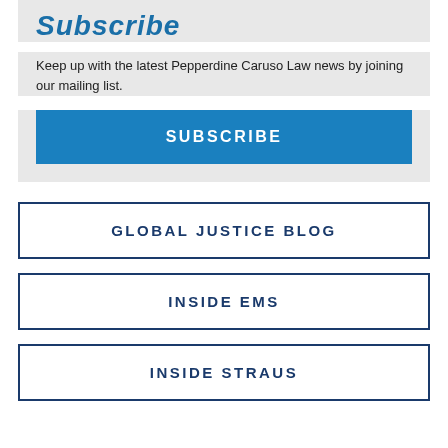Subscribe
Keep up with the latest Pepperdine Caruso Law news by joining our mailing list.
SUBSCRIBE
GLOBAL JUSTICE BLOG
INSIDE EMS
INSIDE STRAUS